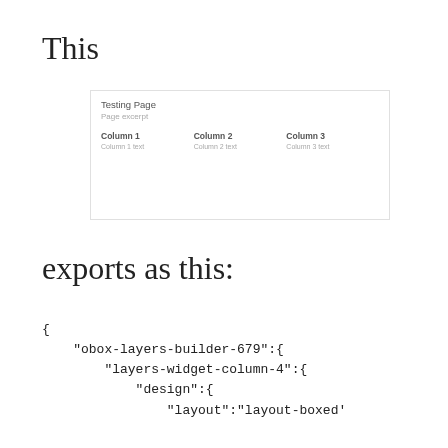This
[Figure (screenshot): A screenshot of a Testing Page with a Page excerpt subtitle and three columns: Column 1, Column 2, Column 3, each with column text below.]
exports as this:
{
    "obox-layers-builder-679":{
        "layers-widget-column-4":{
            "design":{
                "layout":"layout-boxed'